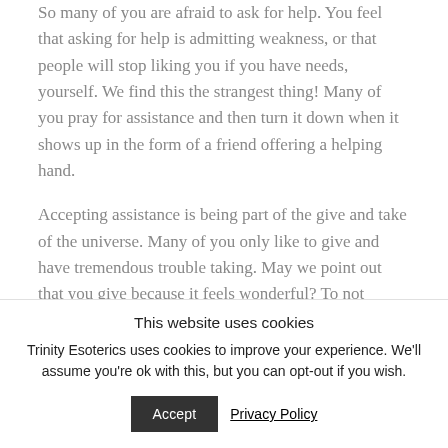So many of you are afraid to ask for help. You feel that asking for help is admitting weakness, or that people will stop liking you if you have needs, yourself. We find this the strangest thing! Many of you pray for assistance and then turn it down when it shows up in the form of a friend offering a helping hand.
Accepting assistance is being part of the give and take of the universe. Many of you only like to give and have tremendous trouble taking. May we point out that you give because it feels wonderful? To not
This website uses cookies
Trinity Esoterics uses cookies to improve your experience. We'll assume you're ok with this, but you can opt-out if you wish.
Accept
Privacy Policy